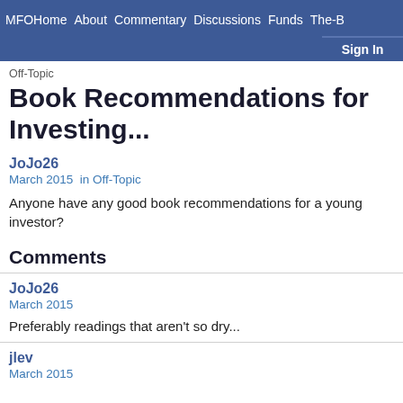MFOHome  About  Commentary  Discussions  Funds  The-B  Sign In
Off-Topic
Book Recommendations for Investing...
JoJo26
March 2015  in  Off-Topic
Anyone have any good book recommendations for a young investor?
Comments
JoJo26
March 2015
Preferably readings that aren't so dry...
jlev
March 2015